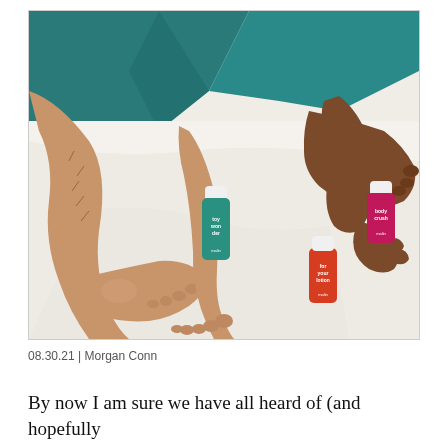[Figure (photo): Overhead view of two people's feet and legs on a white bed with teal/green bedding visible at the top. Three product bottles are placed on the bed: a red bottle labeled 'for your lotion', a teal/green bottle labeled 'toy won der', and a pink/magenta bottle labeled 'body crush'. The products appear to be personal care or intimate products branded with a small logo.]
08.30.21 | Morgan Conn
By now I am sure we have all heard of (and hopefully